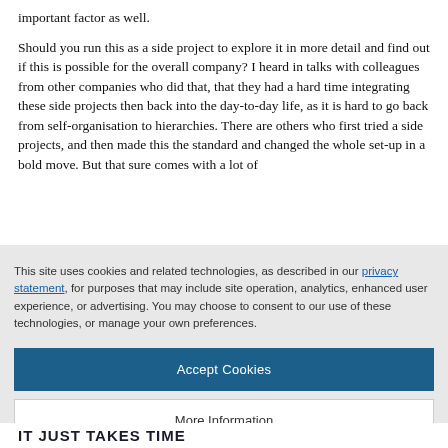important factor as well.
Should you run this as a side project to explore it in more detail and find out if this is possible for the overall company? I heard in talks with colleagues from other companies who did that, that they had a hard time integrating these side projects then back into the day-to-day life, as it is hard to go back from self-organisation to hierarchies. There are others who first tried a side projects, and then made this the standard and changed the whole set-up in a bold move. But that sure comes with a lot of
This site uses cookies and related technologies, as described in our privacy statement, for purposes that may include site operation, analytics, enhanced user experience, or advertising. You may choose to consent to our use of these technologies, or manage your own preferences.
Accept Cookies
More Information
Privacy Policy | Powered by: TrustArc
IT JUST TAKES TIME